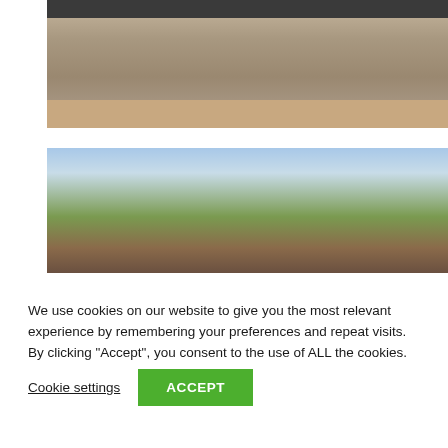[Figure (photo): Kitchen interior with white cabinets, dark countertops, and a stainless steel oven/hob]
[Figure (photo): Exterior view of a house with brick and timber construction, pitched roof, chimney, and trees against a blue sky with clouds]
We use cookies on our website to give you the most relevant experience by remembering your preferences and repeat visits. By clicking “Accept”, you consent to the use of ALL the cookies.
Cookie settings
ACCEPT